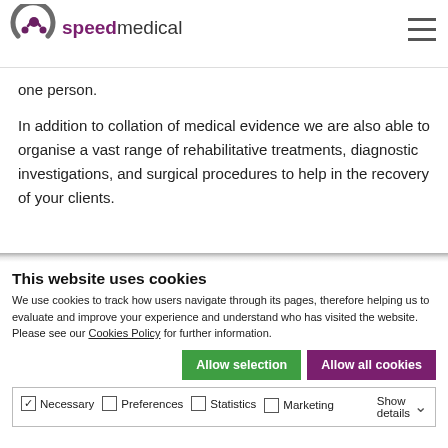speedmedical
one person.
In addition to collation of medical evidence we are also able to organise a vast range of rehabilitative treatments, diagnostic investigations, and surgical procedures to help in the recovery of your clients.
This website uses cookies
We use cookies to track how users navigate through its pages, therefore helping us to evaluate and improve your experience and understand who has visited the website. Please see our Cookies Policy for further information.
Allow selection | Allow all cookies
Necessary | Preferences | Statistics | Marketing | Show details